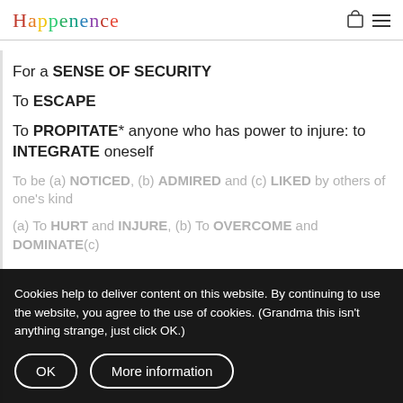Happenence
For a SENSE OF SECURITY
To ESCAPE
To PROPITATE* anyone who has power to injure: to INTEGRATE oneself
To be (a) NOTICED, (b) ADMIRED and (c) LIKED by others of one's kind
(a) To HURT and INJURE, (b) To OVERCOME and DOMINATE, (c) ...
Cookies help to deliver content on this website. By continuing to use the website, you agree to the use of cookies. (Grandma this isn't anything strange, just click OK.)
OK
More information